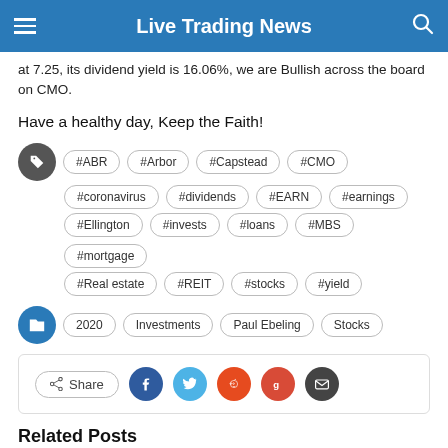Live Trading News
at 7.25, its dividend yield is 16.06%, we are Bullish across the board on CMO.
Have a healthy day, Keep the Faith!
Tags: #ABR #Arbor #Capstead #CMO #coronavirus #dividends #EARN #earnings #Ellington #invests #loans #MBS #mortgage #Real estate #REIT #stocks #yield
Categories: 2020, Investments, Paul Ebeling, Stocks
Share
Related Posts